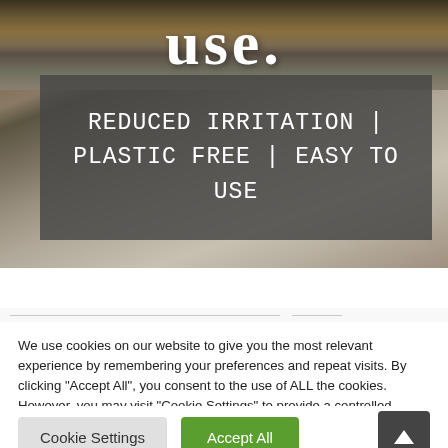[Figure (photo): Hero background photo showing close-up of metallic/mechanical objects (appears to be razors or similar grooming tools) with a dark semi-transparent overlay box containing white monospace text reading 'REDUCED IRRITATION | PLASTIC FREE | EASY TO USE'. Partial white text 'use.' visible at the very top of the image.]
We use cookies on our website to give you the most relevant experience by remembering your preferences and repeat visits. By clicking "Accept All", you consent to the use of ALL the cookies. However, you may visit "Cookie Settings" to provide a controlled consent.